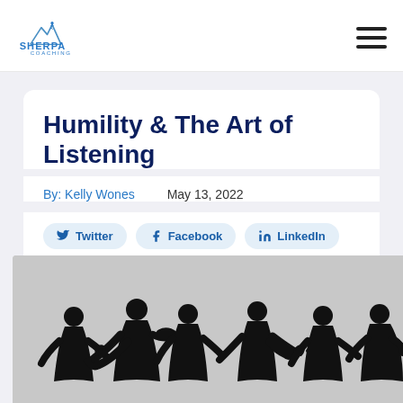Sherpa Coaching
Humility & The Art of Listening
By: Kelly Wones   May 13, 2022
Twitter  Facebook  LinkedIn
[Figure (photo): Silhouettes of a group of people in conversation, gesturing with their hands, against a light grey background.]